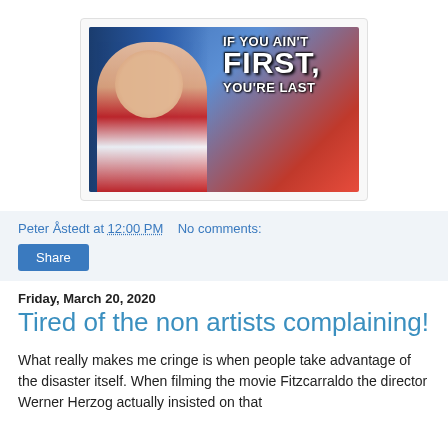[Figure (photo): Meme image showing a man in a racing suit with an American flag background, text reads: IF YOU AIN'T FIRST, YOU'RE LAST]
Peter Åstedt at 12:00 PM   No comments:
Share
Friday, March 20, 2020
Tired of the non artists complaining!
What really makes me cringe is when people take advantage of the disaster itself. When filming the movie Fitzcarraldo the director Werner Herzog actually insisted on that...